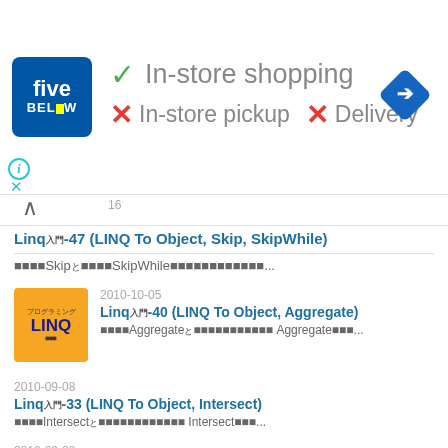[Figure (screenshot): Five Below store page showing in-store shopping availability (checkmark), no in-store pickup (X), no delivery (X), with navigation icon]
In-store shopping
In-store pickup  X  Delivery
Linq入門-47 (LINQ To Object, Skip, SkipWhile)
■■■■Skipと■■■■SkipWhile■■■■■■■■■■■...
2010-10-05
Linq入門-40 (LINQ To Object, Aggregate)
■■■■Aggregateと■■■■■■■■■■■ Aggregate■■...
2010-09-08
Linq入門-33 (LINQ To Object, Intersect)
■■■■Intersectと■■■■■■■■■■■■ Intersect■■...
2010-09-02
Linq入門-30 (LINQ To Object, GroupJoin)
■■■■GroupJoinと■■■■■■■■■■■ GroupJoin■■■...
2010-08-16
Linq入門-26 (LINQ To Object, Reverse)
■■■■Reverseと■■■■■■■■■■■■ Reverse■■■■...